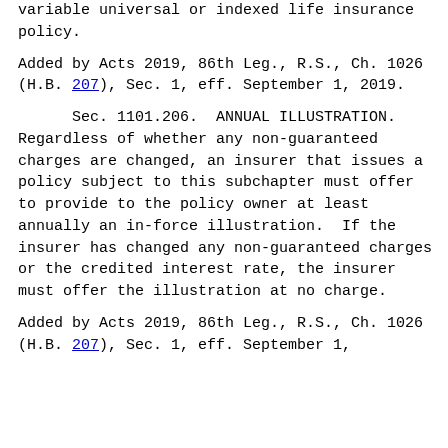variable universal or indexed life insurance policy.
Added by Acts 2019, 86th Leg., R.S., Ch. 1026 (H.B. 207), Sec. 1, eff. September 1, 2019.
Sec. 1101.206.  ANNUAL ILLUSTRATION. Regardless of whether any non-guaranteed charges are changed, an insurer that issues a policy subject to this subchapter must offer to provide to the policy owner at least annually an in-force illustration.  If the insurer has changed any non-guaranteed charges or the credited interest rate, the insurer must offer the illustration at no charge.
Added by Acts 2019, 86th Leg., R.S., Ch. 1026 (H.B. 207), Sec. 1, eff. September 1,